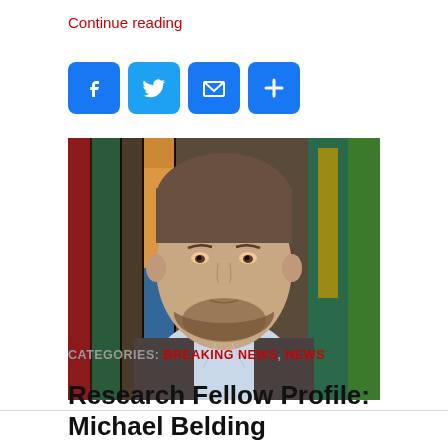Continue reading
[Figure (other): Social media sharing icons: Facebook, Twitter, Email, Plus/More]
[Figure (photo): Portrait photo of Michael Belding, a man with a beard wearing a blue shirt and dark blazer, standing in front of bookshelves with books about Middle Eastern history]
CATEGORIES: BREAKING NEWS, NEWS
Research Fellow Profile: Michael Belding